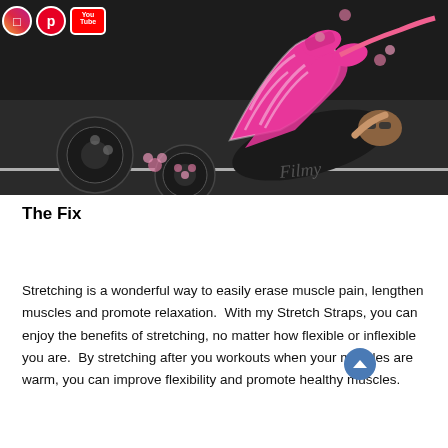[Figure (photo): Woman in pink zebra-print leggings and pink sneakers doing a stretching exercise lying on a dark gym floor, holding a stretch strap with her legs raised. Gym equipment visible in background. Social media icons (Instagram, Pinterest, YouTube) visible in top-left overlay.]
The Fix
Stretching is a wonderful way to easily erase muscle pain, lengthen muscles and promote relaxation.  With my Stretch Straps, you can enjoy the benefits of stretching, no matter how flexible or inflexible you are.  By stretching after you workouts when your muscles are warm, you can improve flexibility and promote healthy muscles.